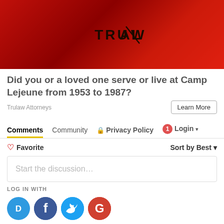[Figure (logo): TruLaw logo on red gradient background banner]
Did you or a loved one serve or live at Camp Lejeune from 1953 to 1987?
Trulaw Attorneys
Learn More
Comments  Community  🔒 Privacy Policy  1  Login ▾
♡ Favorite    Sort by Best ▾
Start the discussion...
LOG IN WITH
[Figure (infographic): Social login icons: Disqus (D), Facebook (F), Twitter bird, Google (G)]
OR SIGN UP WITH DISQUS ?
Name